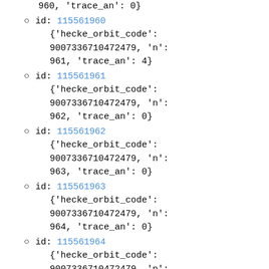960, 'trace_an': 0}
id: 115561960
{'hecke_orbit_code': 9007336710472479, 'n': 961, 'trace_an': 4}
id: 115561961
{'hecke_orbit_code': 9007336710472479, 'n': 962, 'trace_an': 0}
id: 115561962
{'hecke_orbit_code': 9007336710472479, 'n': 963, 'trace_an': 0}
id: 115561963
{'hecke_orbit_code': 9007336710472479, 'n': 964, 'trace_an': 0}
id: 115561964
{'hecke_orbit_code': 9007336710472479, 'n':